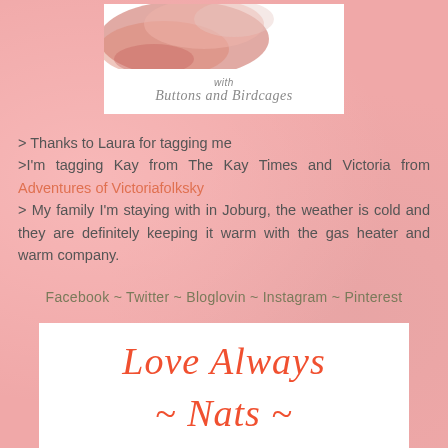[Figure (illustration): Blog banner image with watercolor splash in pink/red tones, text reading 'with Buttons and Birdcages' on white background]
> Thanks to Laura for tagging me
>I'm tagging Kay from The Kay Times and Victoria from Adventures of Victoriafolksky
> My family I'm staying with in Joburg, the weather is cold and they are definitely keeping it warm with the gas heater and warm company.
Facebook ~ Twitter ~ Bloglovin ~ Instagram ~ Pinterest
[Figure (illustration): White box with cursive red text reading 'Love Always ~ Nats ~']